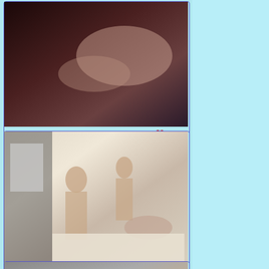[Figure (photo): Video thumbnail showing adult content, first card]
👁 3   🕐 8:00
[Figure (photo): Video thumbnail showing adult content, second card]
👁 5   🕐 21:08
[Figure (photo): Video thumbnail showing adult content, third card (partial)]